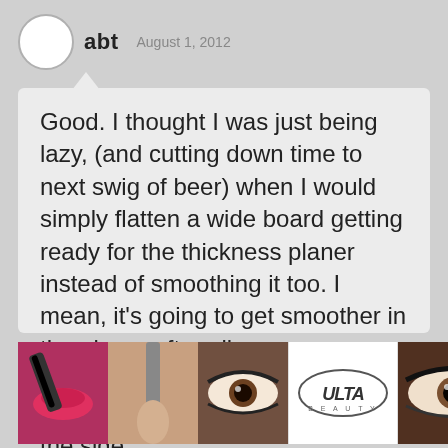abt  August 1, 2012
Good. I thought I was just being lazy, (and cutting down time to next swig of beer) when I would simply flatten a wide board getting ready for the thickness planer instead of smoothing it too. I mean, it's going to get smoother in the planer after all.
On those rot strips (on my other types of case projects), I'd scallop the side
[Figure (advertisement): ULTA Beauty advertisement banner showing beauty product images and faces with dramatic makeup, ULTA logo, SHOP NOW button, and close (X) button]